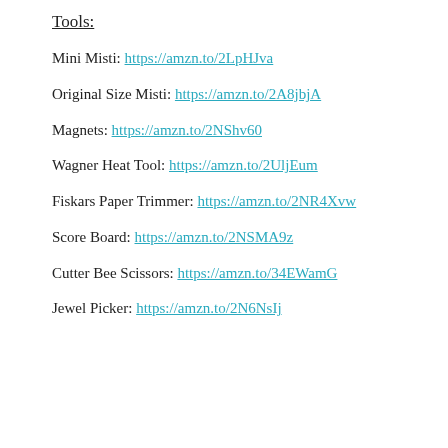Tools:
Mini Misti: https://amzn.to/2LpHJva
Original Size Misti: https://amzn.to/2A8jbjA
Magnets: https://amzn.to/2NShv60
Wagner Heat Tool: https://amzn.to/2UljEum
Fiskars Paper Trimmer: https://amzn.to/2NR4Xvw
Score Board: https://amzn.to/2NSMA9z
Cutter Bee Scissors: https://amzn.to/34EWamG
Jewel Picker: https://amzn.to/2N6NsIj